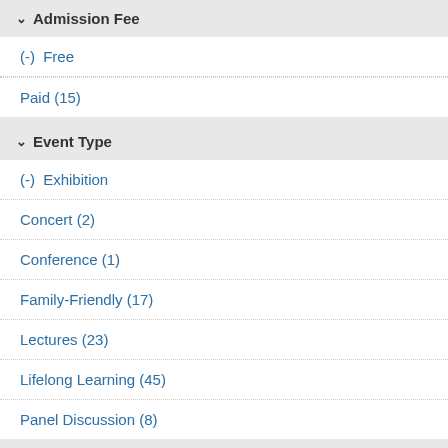Admission Fee
(-) Free
Paid (15)
Event Type
(-) Exhibition
Concert (2)
Conference (1)
Family-Friendly (17)
Lectures (23)
Lifelong Learning (45)
Panel Discussion (8)